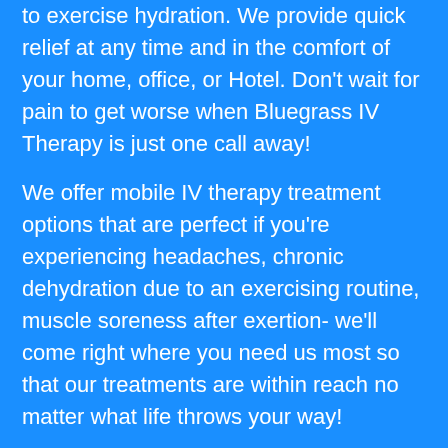to exercise hydration. We provide quick relief at any time and in the comfort of your home, office, or Hotel. Don't wait for pain to get worse when Bluegrass IV Therapy is just one call away!
We offer mobile IV therapy treatment options that are perfect if you're experiencing headaches, chronic dehydration due to an exercising routine, muscle soreness after exertion- we'll come right where you need us most so that our treatments are within reach no matter what life throws your way!
We all know that proper hydration is the key to feeling your best. But there are also some crucial vitamins that—when combined with proper hydration—can alleviate symptoms of chronic illness, and make you feel INCREDIBLE. Watch this short video to